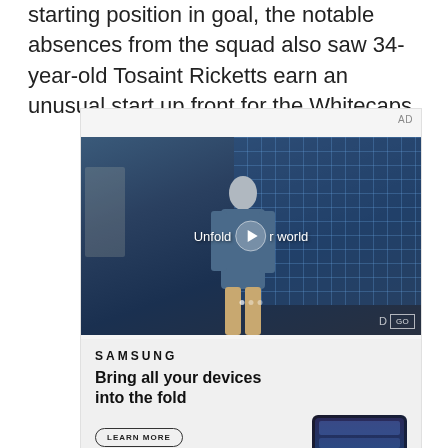starting position in goal, the notable absences from the squad also saw 34-year-old Tosaint Ricketts earn an unusual start up front for the Whitecaps.
[Figure (screenshot): Samsung advertisement showing a video player with a young man in a denim jacket in a cafeteria/school setting, overlaid with text 'Unfold your world' and a play button. Below the video: Samsung logo, tagline 'Bring all your devices into the fold', a 'LEARN MORE' button, and partial image of a foldable phone.]